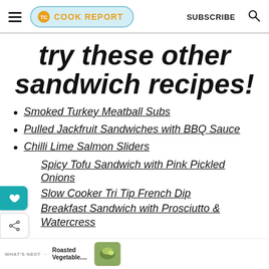THE COOK REPORT | SUBSCRIBE
try these other sandwich recipes!
Smoked Turkey Meatball Subs
Pulled Jackfruit Sandwiches with BBQ Sauce
Chilli Lime Salmon Sliders
Spicy Tofu Sandwich with Pink Pickled Onions
Slow Cooker Tri Tip French Dip
Breakfast Sandwich with Prosciutto & Watercress